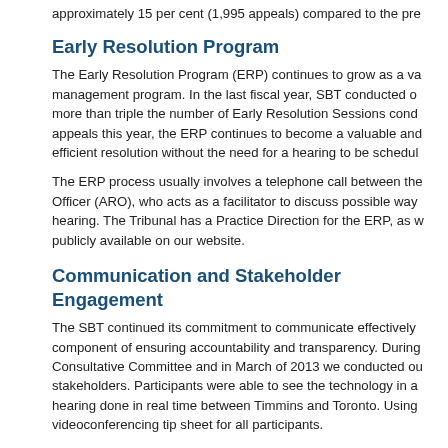approximately 15 per cent (1,995 appeals) compared to the pre...
Early Resolution Program
The Early Resolution Program (ERP) continues to grow as a valuable case management program. In the last fiscal year, SBT conducted over more than triple the number of Early Resolution Sessions conducted appeals this year, the ERP continues to become a valuable and efficient resolution without the need for a hearing to be scheduled.
The ERP process usually involves a telephone call between the Officer (ARO), who acts as a facilitator to discuss possible ways hearing. The Tribunal has a Practice Direction for the ERP, as w publicly available on our website.
Communication and Stakeholder Engagement
The SBT continued its commitment to communicate effectively component of ensuring accountability and transparency. During Consultative Committee and in March of 2013 we conducted ou stakeholders. Participants were able to see the technology in a hearing done in real time between Timmins and Toronto. Using videoconferencing tip sheet for all participants.
Statistics